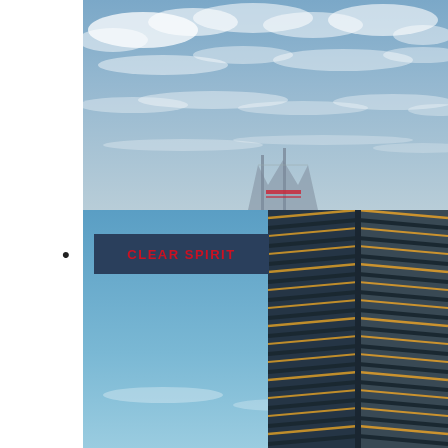[Figure (photo): Sky with scattered white clouds and light blue sky, with the top of a construction crane or building structure visible at the lower center.]
[Figure (photo): Close-up of a modern glass skyscraper facade with diagonal chevron-like balcony lines and golden reflections, against a blue sky with light clouds. A dark navy blue banner overlay in the lower-left area reads 'CLEAR SPIRIT' in red bold uppercase text.]